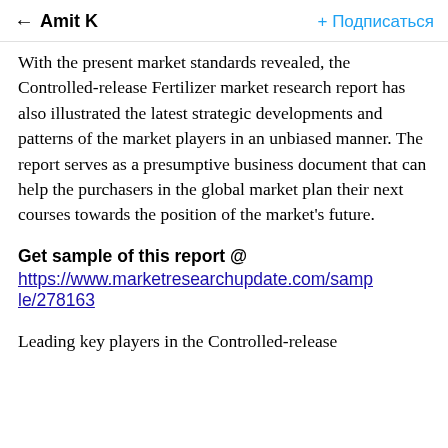← Amit K   + Подписаться
With the present market standards revealed, the Controlled-release Fertilizer market research report has also illustrated the latest strategic developments and patterns of the market players in an unbiased manner. The report serves as a presumptive business document that can help the purchasers in the global market plan their next courses towards the position of the market's future.
Get sample of this report @ https://www.marketresearchupdate.com/sample/278163
Leading key players in the Controlled-release